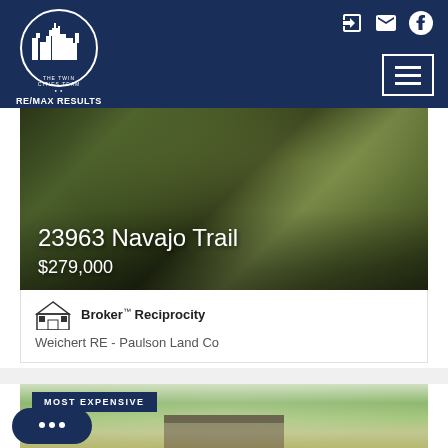[Figure (logo): The Twin Cities Team RE/MAX Results logo — circular city skyline icon in white on navy background with text below]
[Figure (photo): Aerial/landscape photo of 23963 Navajo Trail property with trees and foliage, overlaid with address and price text]
23963 Navajo Trail
$279,000
[Figure (logo): Broker Reciprocity house/MLS logo icon]
Broker™ Reciprocity
Weichert RE - Paulson Land Co
[Figure (photo): Photo of property surrounded by large trees with a house partially visible, labeled MOST EXPENSIVE]
MOST EXPENSIVE